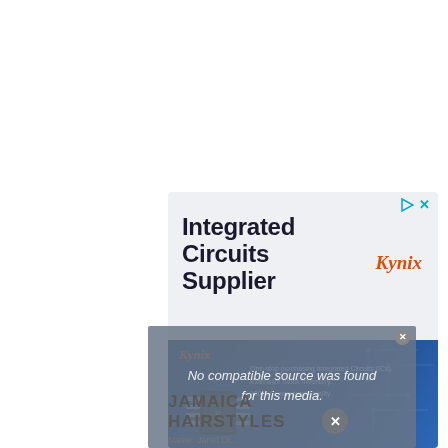[Figure (illustration): Kynix advertisement banner: top white section with large dark bold text 'Integrated Circuits Supplier', Kynix logo in orange-red italic on the right; bottom blue band with Kynix logo, circuit board graphic, IC chip image, and bullet text about one-stop purchasing, stock inventory, and quality guarantee.]
[Figure (screenshot): Video player overlay showing 'No compatible source was found for this media.' error message in white italic text on a grey-blue semi-transparent background, with a close X button and a circular X dismiss button.]
JAMAICA HAIRSTYLES
Name: Janet Di...